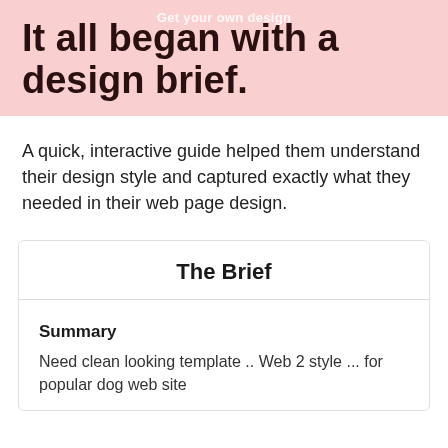It all began with a design brief.
A quick, interactive guide helped them understand their design style and captured exactly what they needed in their web page design.
The Brief
Summary
Need clean looking template .. Web 2 style ... for popular dog web site